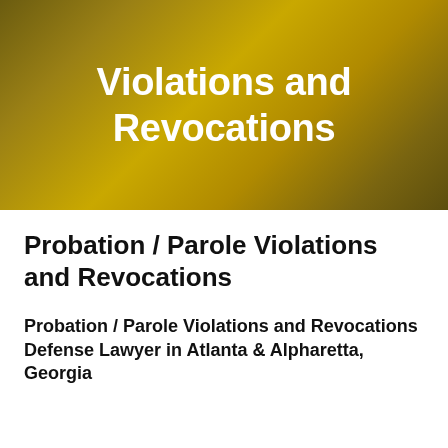[Figure (illustration): Gold/brown gradient background with white bold text reading 'Violations and Revocations' (partial title visible, top portion cropped)]
Probation / Parole Violations and Revocations
Probation / Parole Violations and Revocations Defense Lawyer in Atlanta & Alpharetta, Georgia